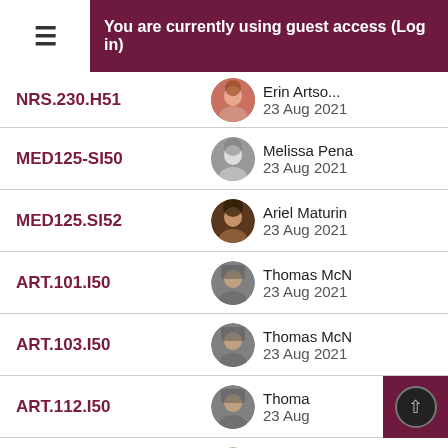You are currently using guest access (Log in)
NRS.230.H51 — 23 Aug 2021
MED125-SI50 — Melissa Pena — 23 Aug 2021
MED125.SI52 — Ariel Maturin — 23 Aug 2021
ART.101.I50 — Thomas McN — 23 Aug 2021
ART.103.I50 — Thomas McN — 23 Aug 2021
ART.112.I50 — Thomas McN — 23 Aug 2021
MUS151.H01 — Daniel Bicke — 23 Aug 2021